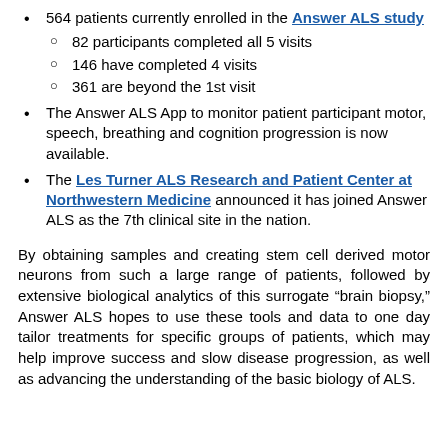564 patients currently enrolled in the Answer ALS study
82 participants completed all 5 visits
146 have completed 4 visits
361 are beyond the 1st visit
The Answer ALS App to monitor patient participant motor, speech, breathing and cognition progression is now available.
The Les Turner ALS Research and Patient Center at Northwestern Medicine announced it has joined Answer ALS as the 7th clinical site in the nation.
By obtaining samples and creating stem cell derived motor neurons from such a large range of patients, followed by extensive biological analytics of this surrogate “brain biopsy,” Answer ALS hopes to use these tools and data to one day tailor treatments for specific groups of patients, which may help improve success and slow disease progression, as well as advancing the understanding of the basic biology of ALS.